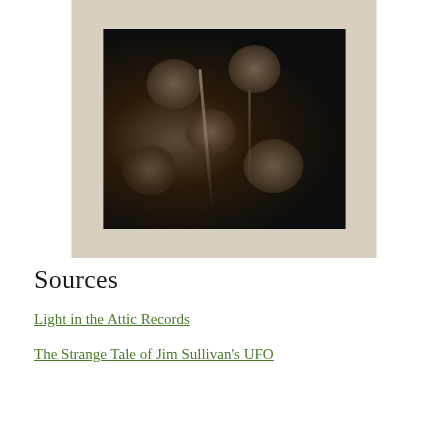[Figure (photo): Black and white album cover photo showing multiple faces of men with mustaches looking upward, against a light/cream colored album sleeve background]
Sources
Light in the Attic Records
The Strange Tale of Jim Sullivan's UFO
...